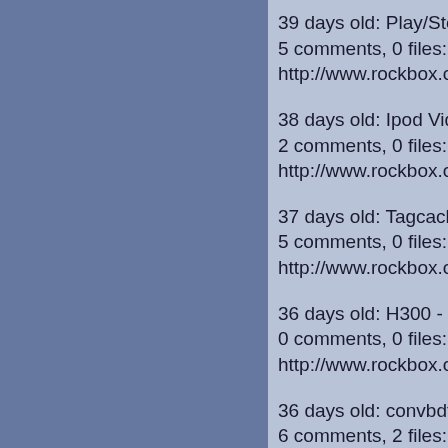39 days old: Play/Stop usage in UI seems inconsistent?
5 comments, 0 files:
http://www.rockbox.org/tracker/4933
38 days old: Ipod Video constant ticking and scrollwheel noise bug
2 comments, 0 files:
http://www.rockbox.org/tracker/4937
37 days old: Tagcache cache update fails with Prefetch abort at 86AD43D8
5 comments, 0 files:
http://www.rockbox.org/tracker/4941
36 days old: H300 - Scrolling causes playback halt
0 comments, 0 files:
http://www.rockbox.org/tracker/4948
36 days old: convbdf segfaults on very large fonts
6 comments, 2 files:
http://www.rockbox.org/tracker/4955
35 days old: chessbox gets frozen on hold
1 comments, 0 files:
http://www.rockbox.org/tracker/4977
35 days old: TagCache Genre Bug
0 comments, 0 files:
http://www.rockbox.org/tracker/4978